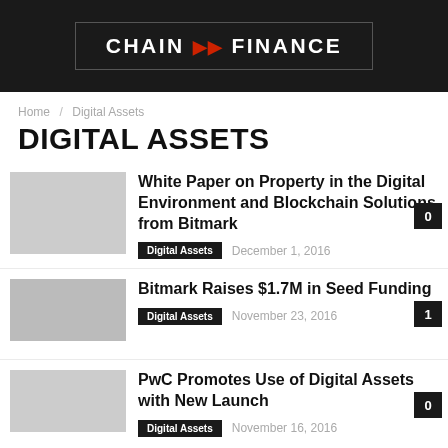CHAIN GO FINANCE
Home / Digital Assets
DIGITAL ASSETS
White Paper on Property in the Digital Environment and Blockchain Solutions from Bitmark
Digital Assets   December 1, 2016   0
Bitmark Raises $1.7M in Seed Funding
Digital Assets   November 23, 2016   1
PwC Promotes Use of Digital Assets with New Launch
Digital Assets   November 16, 2016   0